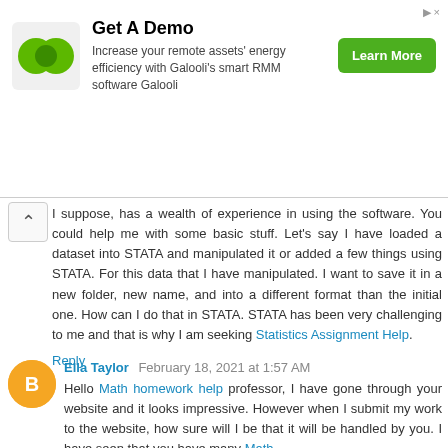[Figure (illustration): Advertisement banner for Galooli. Green logo with overlapping circles, text 'Get A Demo', body text 'Increase your remote assets' energy efficiency with Galooli's smart RMM software Galooli', and a green 'Learn More' button.]
I suppose, has a wealth of experience in using the software. You could help me with some basic stuff. Let's say I have loaded a dataset into STATA and manipulated it or added a few things using STATA. For this data that I have manipulated. I want to save it in a new folder, new name, and into a different format than the initial one. How can I do that in STATA. STATA has been very challenging to me and that is why I am seeking Statistics Assignment Help.
Reply
Ella Taylor   February 18, 2021 at 1:57 AM
Hello Math homework help professor, I have gone through your website and it looks impressive. However when I submit my work to the website, how sure will I be that it will be handled by you. I have seen that you have many Math